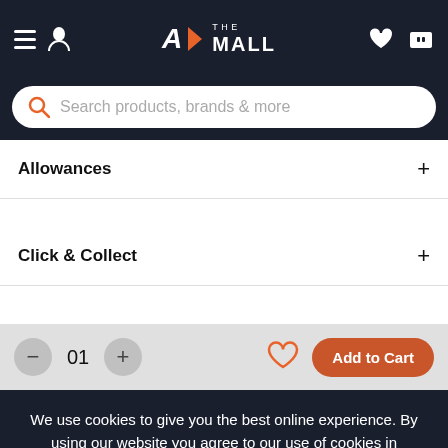A> THE MALL — Navigation bar with hamburger menu, user icon, logo, heart and cart icons
Search products, brands & more
Allowances +
Click & Collect +
— 01 + [heart] Add to Cart
We use cookies to give you the best online experience. By using our website you agree to our use of cookies in accordance with our privacy policy
Continue